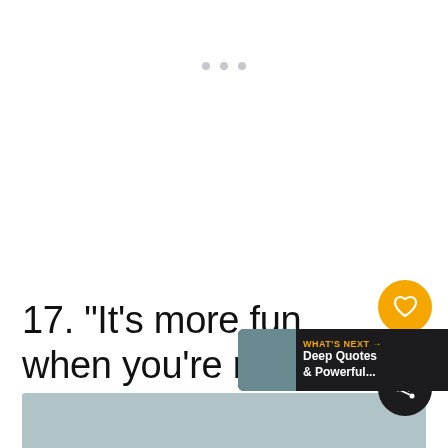[Figure (other): Three small grey dots indicating a loading or carousel indicator, centered near the top of the page]
17. “It’s more fun when you’re not the only one having it.” – the Oaqui
[Figure (other): UI overlay showing: orange heart/like button, count badge showing 139, dark share button, and a 'What's Next' banner with thumbnail and text 'Deep Quotes & Powerful...']
[Figure (other): Blue-grey rectangular strip at the bottom of the page, partially visible]